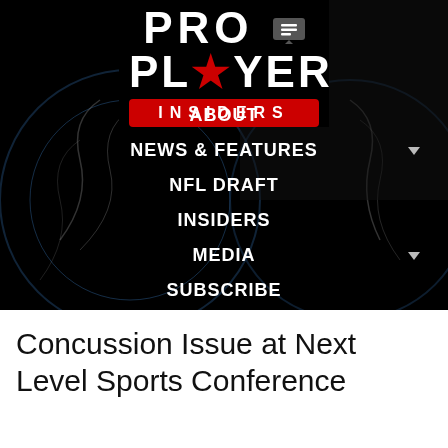[Figure (screenshot): Pro Player Insiders website header with logo and navigation menu on dark background with football helmet imagery. Logo shows 'PRO PLAYER' in white bold text with a red star, 'INSIDERS' in white on red bar. Navigation items: ABOUT, NEWS & FEATURES, NFL DRAFT, INSIDERS, MEDIA, SUBSCRIBE.]
Concussion Issue at Next Level Sports Conference